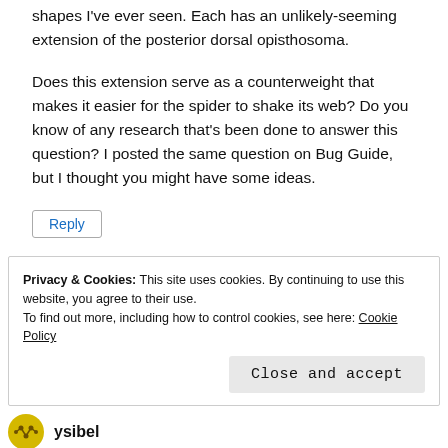shapes I've ever seen. Each has an unlikely-seeming extension of the posterior dorsal opisthosoma.
Does this extension serve as a counterweight that makes it easier for the spider to shake its web? Do you know of any research that's been done to answer this question? I posted the same question on Bug Guide, but I thought you might have some ideas.
Reply
Privacy & Cookies: This site uses cookies. By continuing to use this website, you agree to their use. To find out more, including how to control cookies, see here: Cookie Policy
Close and accept
ysibel